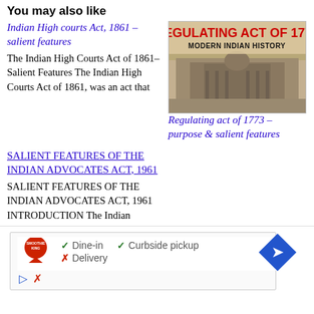You may also like
Indian High courts Act, 1861 – salient features
The Indian High Courts Act of 1861– Salient Features The Indian High Courts Act of 1861, was an act that
[Figure (photo): Book cover image for 'Regulating Act of 1773 – Modern Indian History' showing a historical building photograph in sepia tone with red bold title text]
Regulating act of 1773 – purpose & salient features
SALIENT FEATURES OF THE INDIAN ADVOCATES ACT, 1961
SALIENT FEATURES OF THE INDIAN ADVOCATES ACT, 1961 INTRODUCTION The Indian Advocates Act,
[Figure (screenshot): Advertisement showing Smoothie King logo with dine-in, curbside pickup and delivery options, and a navigation/maps icon]